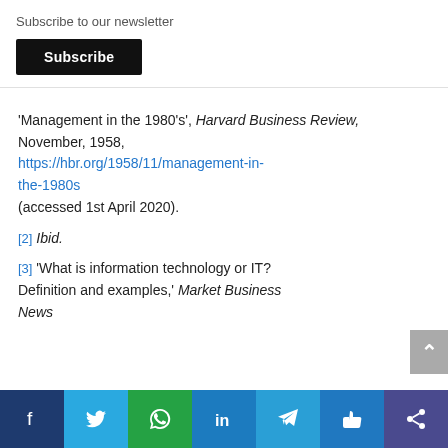Subscribe to our newsletter
Subscribe
'Management in the 1980's', Harvard Business Review, November, 1958, https://hbr.org/1958/11/management-in-the-1980s (accessed 1st April 2020).
[2] Ibid.
[3] 'What is information technology or IT? Definition and examples,' Market Business News
Social share bar: Facebook, Twitter, WhatsApp, LinkedIn, Telegram, Like, Share